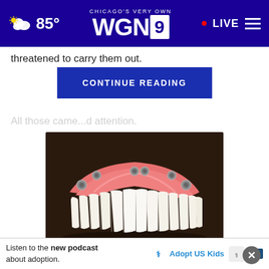Chicago's Very Own WGN9 — 85° — LIVE
threatened to carry them out.
CONTINUE READING
All those came...d attention.
[Figure (photo): A dental implant prosthetic showing a full arch of white teeth with pink gum material and metal implant attachment points on a dark background.]
Ashburn: Actual Whole Mouth Dental Implant Cost In 2022 (See List)
Listen to the new podcast about adoption.